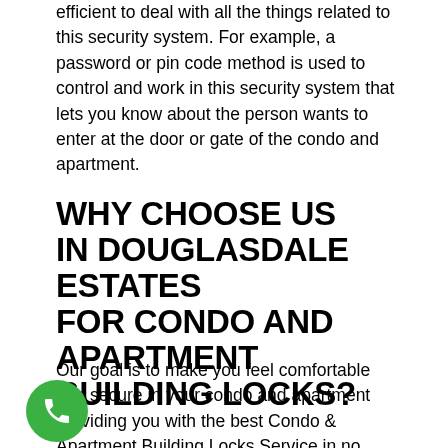efficient to deal with all the things related to this security system. For example, a password or pin code method is used to control and work in this security system that lets you know about the person wants to enter at the door or gate of the condo and apartment.
WHY CHOOSE US IN DOUGLASDALE ESTATES FOR CONDO AND APARTMENT BUILDING LOCKS?
Our goal is to make you feel comfortable and secure in your condo and apartment providing you with the best Condo & Apartment Building Locks Service in no time. All of our Locksmith and other related services are Available 24 Hours 7 days a week. Commercial Locksmith is equipped with